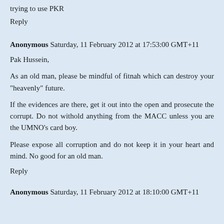trying to use PKR
Reply
Anonymous  Saturday, 11 February 2012 at 17:53:00 GMT+11
Pak Hussein,
As an old man, please be mindful of fitnah which can destroy your "heavenly" future.
If the evidences are there, get it out into the open and prosecute the corrupt. Do not withold anything from the MACC unless you are the UMNO's card boy.
Please expose all corruption and do not keep it in your heart and mind. No good for an old man.
Reply
Anonymous  Saturday, 11 February 2012 at 18:10:00 GMT+11